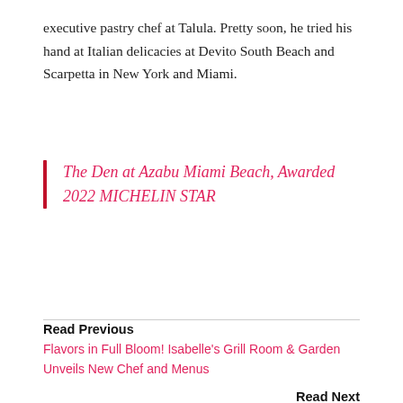executive pastry chef at Talula. Pretty soon, he tried his hand at Italian delicacies at Devito South Beach and Scarpetta in New York and Miami.
The Den at Azabu Miami Beach, Awarded 2022 MICHELIN STAR
Read Previous
Flavors in Full Bloom! Isabelle's Grill Room & Garden Unveils New Chef and Menus
Read Next
Chef Juanma of Elcielo in Brickell receives first-ever coveted Michelin Star in Florida